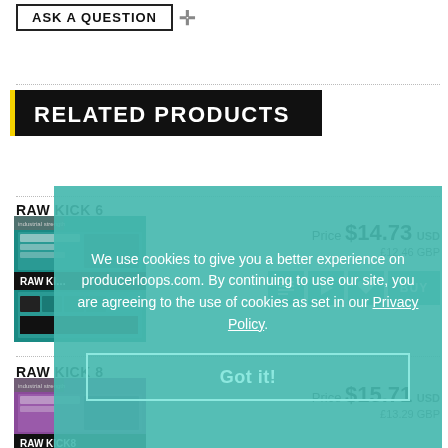ASK A QUESTION +
RELATED PRODUCTS
RAW KICK 6
Price $14.73 USD £12.46 GBP
[Figure (screenshot): Raw Kick 6 product thumbnail image]
RAW KICK 8
Price $15.71 USD £13.29 GBP
[Figure (screenshot): Raw Kick 8 product thumbnail image]
We use cookies to give you a better experience on producerloops.com. By continuing to use our site, you are agreeing to the use of cookies as set in our Policy.
Got it!